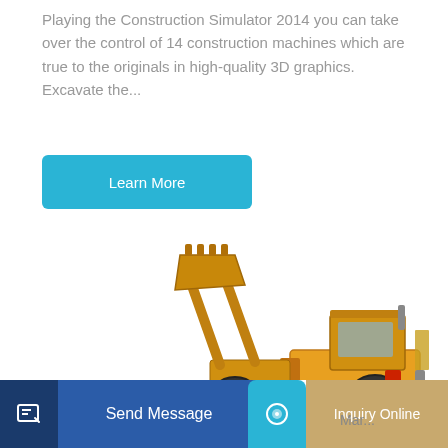Playing the Construction Simulator 2014 you can take over the control of 14 construction machines which are true to the originals in high-quality 3D graphics. Excavate the...
Learn More
[Figure (photo): Yellow wheel loader / front-end loader construction machine with raised bucket arm, shown on white background]
Send Message
Mar...
Inquiry Online